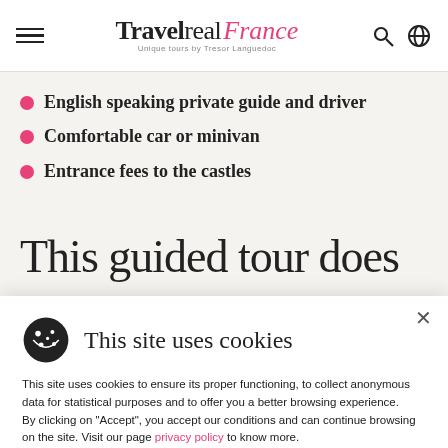Travel real France — Unique tours by Tresor Languedoc
English speaking private guide and driver
Comfortable car or minivan
Entrance fees to the castles
This guided tour does not
This site uses cookies
This site uses cookies to ensure its proper functioning, to collect anonymous data for statistical purposes and to offer you a better browsing experience.
By clicking on "Accept", you accept our conditions and can continue browsing on the site. Visit our page privacy policy to know more.
ACCEPT   REFUSE